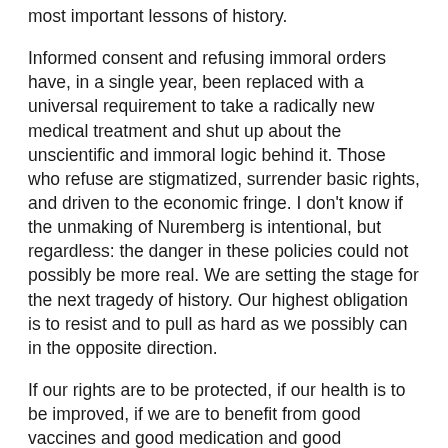most important lessons of history.
Informed consent and refusing immoral orders have, in a single year, been replaced with a universal requirement to take a radically new medical treatment and shut up about the unscientific and immoral logic behind it. Those who refuse are stigmatized, surrender basic rights, and driven to the economic fringe. I don't know if the unmaking of Nuremberg is intentional, but regardless: the danger in these policies could not possibly be more real. We are setting the stage for the next tragedy of history. Our highest obligation is to resist and to pull as hard as we possibly can in the opposite direction.
If our rights are to be protected, if our health is to be improved, if we are to benefit from good vaccines and good medication and good information, we must regain control of our captured system. We must preserve the gains of Nuremberg, liberate the practice of medicine from the pharmaceutical industry, defeat the mandates, and come together as Americans.